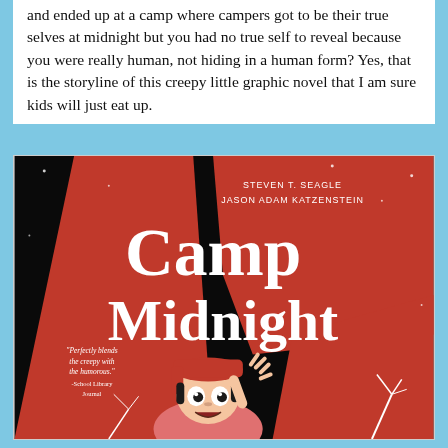and ended up at a camp where campers got to be their true selves at midnight but you had no true self to reveal because you were really human, not hiding in a human form? Yes, that is the storyline of this creepy little graphic novel that I am sure kids will just eat up.
[Figure (illustration): Book cover of 'Camp Midnight' by Steven T. Seagle and Jason Adam Katzenstein. Black background with large bold white text reading 'Camp Midnight'. Red graphic shapes in background. A cartoon girl with wide eyes and messy black hair wearing a red cap is reaching up. Quote reads: 'Perfectly blends the creepy with the humorous.' -School Library Journal]